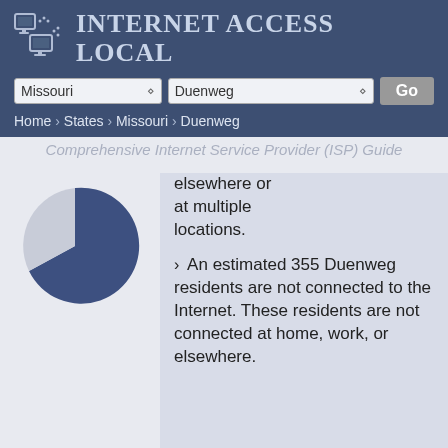Internet Access Local
Missouri | Duenweg | Go
Home › States › Missouri › Duenweg
Comprehensive Internet Service Provider (ISP) Guide
[Figure (pie-chart): Partial pie chart visible in lower left, showing internet connectivity segments in blue and light gray]
elsewhere or at multiple locations.
An estimated 355 Duenweg residents are not connected to the Internet. These residents are not connected at home, work, or elsewhere.